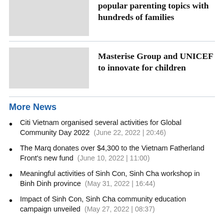popular parenting topics with hundreds of families
Masterise Group and UNICEF to innovate for children
More News
Citi Vietnam organised several activities for Global Community Day 2022 (June 22, 2022 | 20:46)
The Marq donates over $4,300 to the Vietnam Fatherland Front's new fund (June 10, 2022 | 11:00)
Meaningful activities of Sinh Con, Sinh Cha workshop in Binh Dinh province (May 31, 2022 | 16:44)
Impact of Sinh Con, Sinh Cha community education campaign unveiled (May 27, 2022 | 08:37)